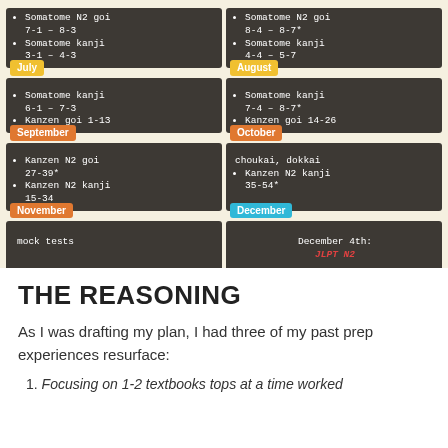[Figure (infographic): A study plan infographic for JLPT N2 preparation, organized by month (July through December) on a cream background. Each month has a colored label (yellow for July/August, orange for September/October/November, blue for December) and a dark brown box listing textbook chapters or study tasks. Books illustration at bottom left. Credit: mikuwashi.com]
© mikuwashi.com
THE REASONING
As I was drafting my plan, I had three of my past prep experiences resurface:
Focusing on 1-2 textbooks tops at a time worked